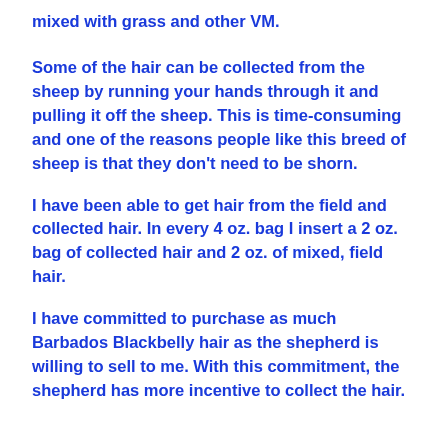mixed with grass and other VM.
Some of the hair can be collected from the sheep by running your hands through it and pulling it off the sheep.  This is time-consuming and one of the reasons people like this breed of sheep is that they don't need to be shorn.
I have been able to get hair from the field and collected hair.  In every 4 oz. bag I insert a 2 oz. bag of collected hair and 2 oz. of mixed, field hair.
I have committed to purchase as much Barbados Blackbelly hair as the shepherd is willing to sell to me.  With this commitment, the shepherd has more incentive to collect the hair.